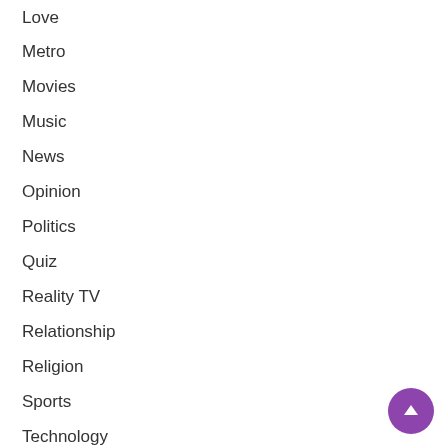Love
Metro
Movies
Music
News
Opinion
Politics
Quiz
Reality TV
Relationship
Religion
Sports
Technology